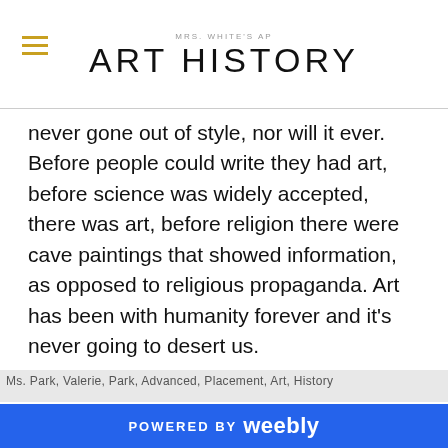MRS. WHITE'S AP ART HISTORY
never gone out of style, nor will it ever. Before people could write they had art, before science was widely accepted, there was art, before religion there were cave paintings that showed information, as opposed to religious propaganda. Art has been with humanity forever and it's never going to desert us.
Ms. Park, Valerie, Park, Advanced, Placement, Art, History
POWERED BY weebly